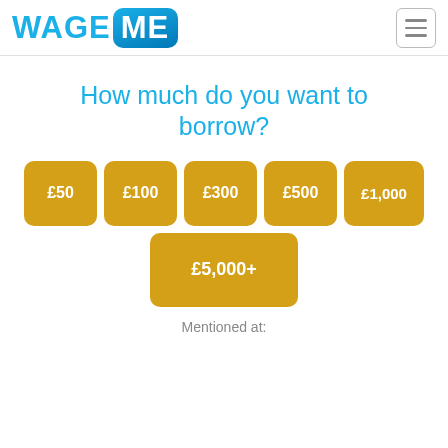[Figure (logo): WageMe logo in blue with 'WAGE' in light blue text and 'ME' in white on a blue rounded rectangle background]
How much do you want to borrow?
£50
£100
£300
£500
£1,000
£5,000+
Mentioned at: